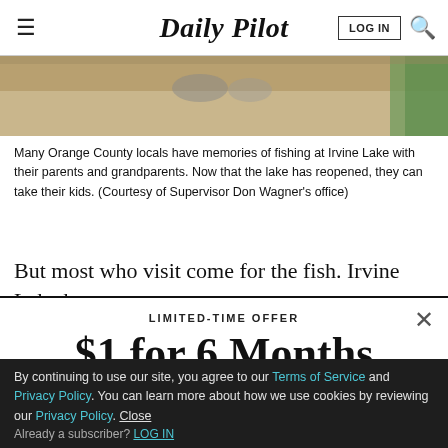Daily Pilot
[Figure (photo): Top portion of a photo showing sandy ground with feet/shoes visible, likely at Irvine Lake outdoor setting with some green foliage.]
Many Orange County locals have memories of fishing at Irvine Lake with their parents and grandparents. Now that the lake has reopened, they can take their kids. (Courtesy of Supervisor Don Wagner's office)
But most who visit come for the fish. Irvine Lake has
LIMITED-TIME OFFER
$1 for 6 Months
SUBSCRIBE NOW
By continuing to use our site, you agree to our Terms of Service and Privacy Policy. You can learn more about how we use cookies by reviewing our Privacy Policy. Close
Already a subscriber? LOG IN